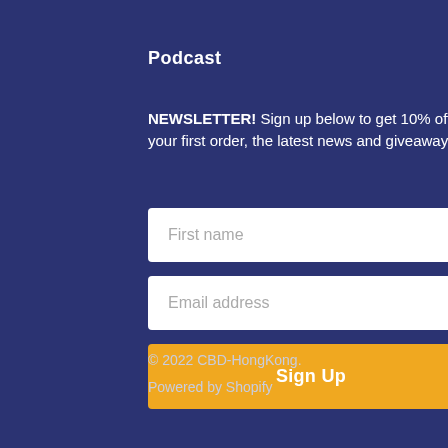Podcast
NEWSLETTER! Sign up below to get 10% off your first order, the latest news and giveaways!
First name
Email address
Sign Up
© 2022 CBD-HongKong.
Powered by Shopify